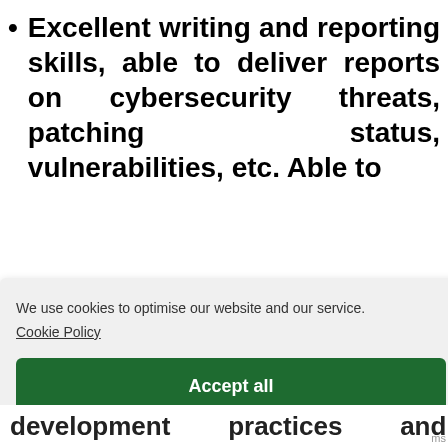Excellent writing and reporting skills, able to deliver reports on cybersecurity threats, patching status, vulnerabilities, etc. Able to
We use cookies to optimise our website and our service.
Cookie Policy
Accept all
Functional only
View preferences
development        practices        and